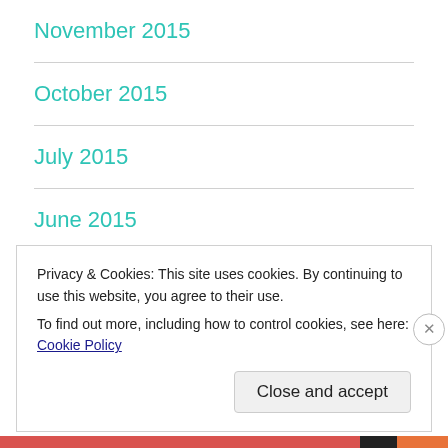November 2015
October 2015
July 2015
June 2015
May 2015
April 2015
Privacy & Cookies: This site uses cookies. By continuing to use this website, you agree to their use.
To find out more, including how to control cookies, see here: Cookie Policy
Close and accept